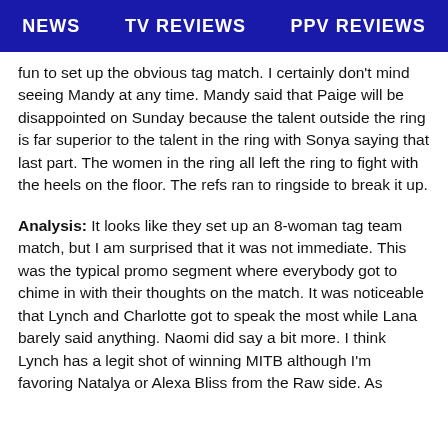NEWS   TV REVIEWS   PPV REVIEWS
fun to set up the obvious tag match. I certainly don't mind seeing Mandy at any time. Mandy said that Paige will be disappointed on Sunday because the talent outside the ring is far superior to the talent in the ring with Sonya saying that last part. The women in the ring all left the ring to fight with the heels on the floor. The refs ran to ringside to break it up.
Analysis: It looks like they set up an 8-woman tag team match, but I am surprised that it was not immediate. This was the typical promo segment where everybody got to chime in with their thoughts on the match. It was noticeable that Lynch and Charlotte got to speak the most while Lana barely said anything. Naomi did say a bit more. I think Lynch has a legit shot of winning MITB although I'm favoring Natalya or Alexa Bliss from the Raw side. As